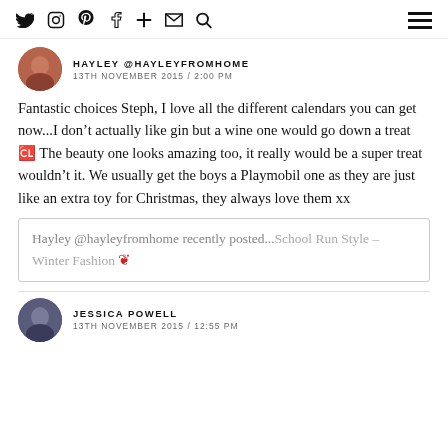Navigation icons: Twitter, Instagram, Pinterest, Facebook, Plus, Email, Search, Menu
HAYLEY @HAYLEYFROMHOME
13TH NOVEMBER 2015 / 2:00 PM
Fantastic choices Steph, I love all the different calendars you can get now...I don't actually like gin but a wine one would go down a treat 🍷 The beauty one looks amazing too, it really would be a super treat wouldn't it. We usually get the boys a Playmobil one as they are just like an extra toy for Christmas, they always love them xx
Hayley @hayleyfromhome recently posted...School Run Style – Winter Fashion 🦅
JESSICA POWELL
13TH NOVEMBER 2015 / 12:55 PM